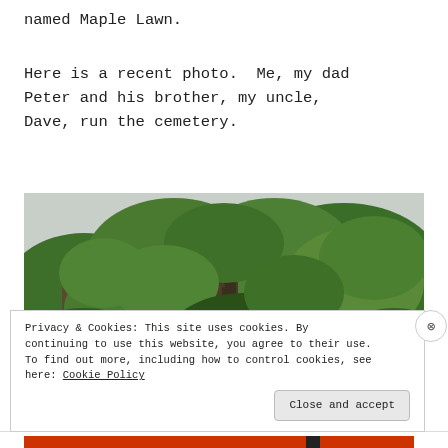named Maple Lawn.
Here is a recent photo.  Me, my dad Peter and his brother, my uncle, Dave, run the cemetery.
[Figure (photo): Outdoor photograph of large trees with dense green foliage against an overcast sky, taken from below looking upward.]
Privacy & Cookies: This site uses cookies. By continuing to use this website, you agree to their use. To find out more, including how to control cookies, see here: Cookie Policy
Close and accept